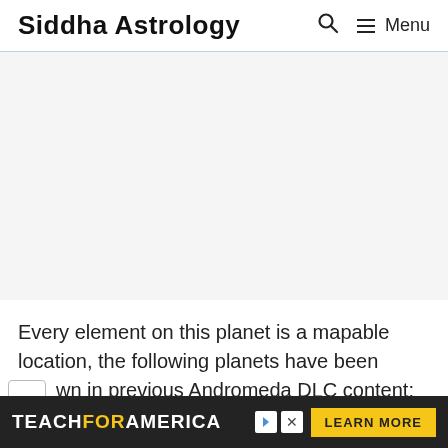Siddha Astrology
[Figure (other): Large blank advertisement area in the center of the page]
Every element on this planet is a mapable location, the following planets have been shown in previous Andromeda DLC content:
TEACHFORAMERICA  LEARN MORE